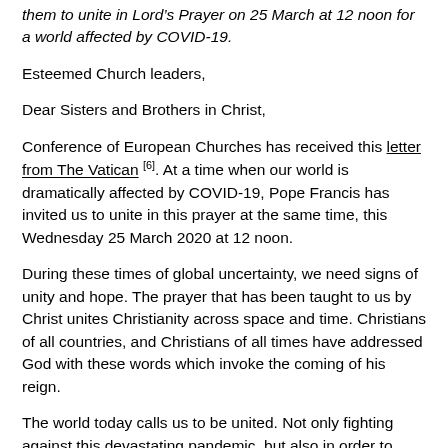them to unite in Lord’s Prayer on 25 March at 12 noon for a world affected by COVID-19.
Esteemed Church leaders,
Dear Sisters and Brothers in Christ,
Conference of European Churches has received this letter from The Vatican [6]. At a time when our world is dramatically affected by COVID-19, Pope Francis has invited us to unite in this prayer at the same time, this Wednesday 25 March 2020 at 12 noon.
During these times of global uncertainty, we need signs of unity and hope. The prayer that has been taught to us by Christ unites Christianity across space and time. Christians of all countries, and Christians of all times have addressed God with these words which invoke the coming of his reign.
The world today calls us to be united. Not only fighting against this devastating pandemic, but also in order to support one another and